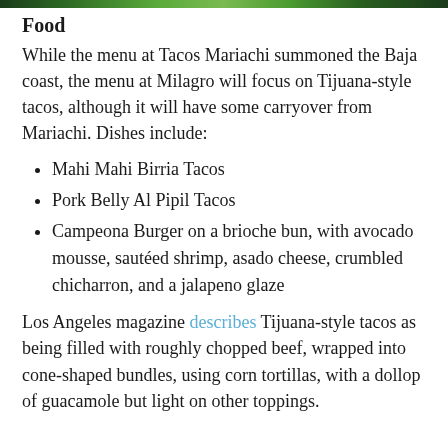[Figure (photo): Partial image strip at top of page showing a colorful food/restaurant related image with green tones]
Food
While the menu at Tacos Mariachi summoned the Baja coast, the menu at Milagro will focus on Tijuana-style tacos, although it will have some carryover from Mariachi. Dishes include:
Mahi Mahi Birria Tacos
Pork Belly Al Pipil Tacos
Campeona Burger on a brioche bun, with avocado mousse, sautéed shrimp, asado cheese, crumbled chicharron, and a jalapeno glaze
Los Angeles magazine describes Tijuana-style tacos as being filled with roughly chopped beef, wrapped into cone-shaped bundles, using corn tortillas, with a dollop of guacamole but light on other toppings.